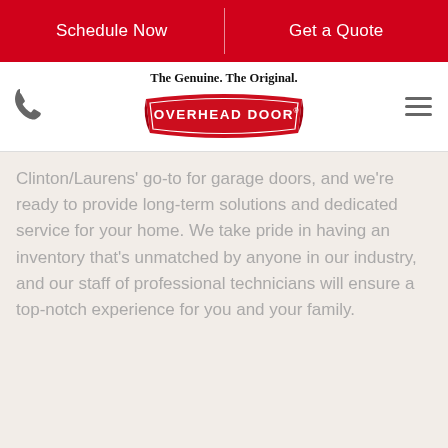Schedule Now | Get a Quote
[Figure (logo): Overhead Door logo with tagline 'The Genuine. The Original.' and red banner with OVERHEAD DOOR text]
Clinton/Laurens' go-to for garage doors, and we're ready to provide long-term solutions and dedicated service for your home. We take pride in having an inventory that's unmatched by anyone in our industry, and our staff of professional technicians will ensure a top-notch experience for you and your family.